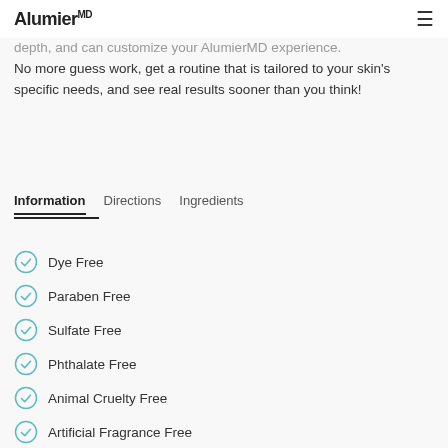AlumierMD
depth, and can customize your AlumierMD experience. No more guess work, get a routine that is tailored to your skin's specific needs, and see real results sooner than you think!
Information   Directions   Ingredients
Dye Free
Paraben Free
Sulfate Free
Phthalate Free
Animal Cruelty Free
Artificial Fragrance Free